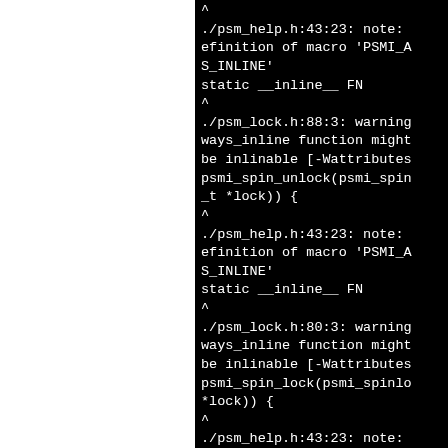[Figure (screenshot): Terminal/console output showing compiler warnings and notes. Black background with white monospace text. Left third of page is white (blank). Right portion shows compiler messages about PSMI_A S_INLINE macro definition warnings from psm_help.h and psm_lock.h files.]